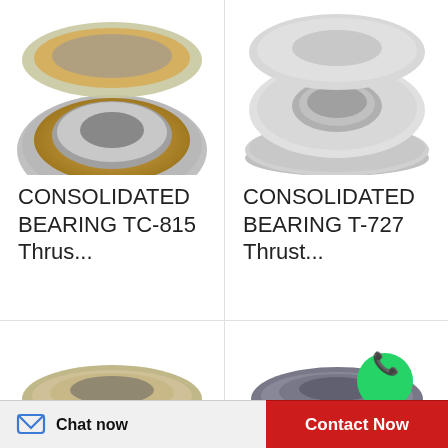[Figure (photo): Thrust bearing TC-815, top partial view, metallic silver and gold colors]
CONSOLIDATED BEARING TC-815 Thrus...
[Figure (photo): Thrust bearing T-727, top partial view, metallic silver color]
CONSOLIDATED BEARING T-727 Thrust...
[Figure (photo): Spherical thrust roller bearing, full view, silver and gold metallic, with cylindrical rollers]
CONSOLIDATED
[Figure (photo): Spherical thrust roller bearing, full view, dark gray metallic, with WhatsApp badge overlay]
CONSOLIDATED
Chat now
Contact Now